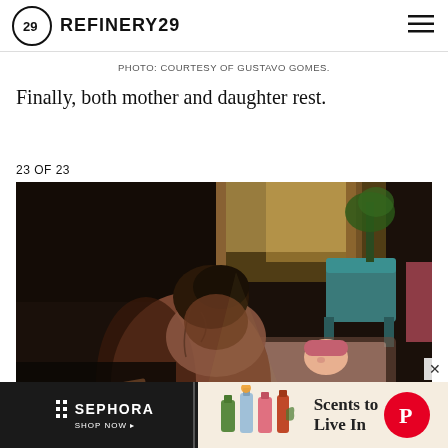REFINERY29
PHOTO: COURTESY OF GUSTAVO GOMES.
Finally, both mother and daughter rest.
23 OF 23
[Figure (photo): A woman sits with her back to the camera, head bowed, in a dimly lit room. A newborn baby lies in a bassinet or bed behind her. A teal chair and potted plant are visible in the background near a window with curtains.]
[Figure (other): Advertisement banner: Sephora 'Shop Now' on dark background on left; perfume bottles and 'Scents to Live In' text on light background on right; Pinterest logo on far right.]